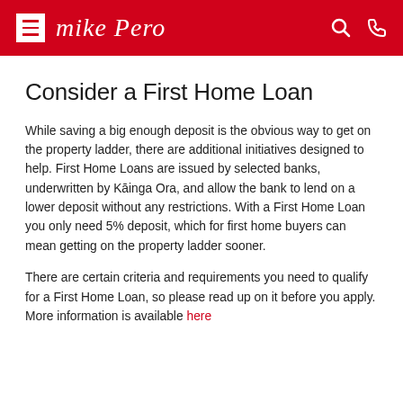Mike Pero
Consider a First Home Loan
While saving a big enough deposit is the obvious way to get on the property ladder, there are additional initiatives designed to help. First Home Loans are issued by selected banks, underwritten by Kāinga Ora, and allow the bank to lend on a lower deposit without any restrictions. With a First Home Loan you only need 5% deposit, which for first home buyers can mean getting on the property ladder sooner.
There are certain criteria and requirements you need to qualify for a First Home Loan, so please read up on it before you apply. More information is available here